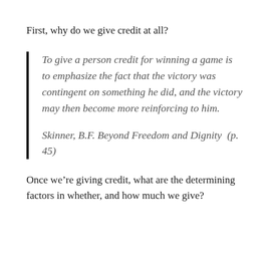First, why do we give credit at all?
To give a person credit for winning a game is to emphasize the fact that the victory was contingent on something he did, and the victory may then become more reinforcing to him.
Skinner, B.F. Beyond Freedom and Dignity  (p. 45)
Once we’re giving credit, what are the determining factors in whether, and how much we give?